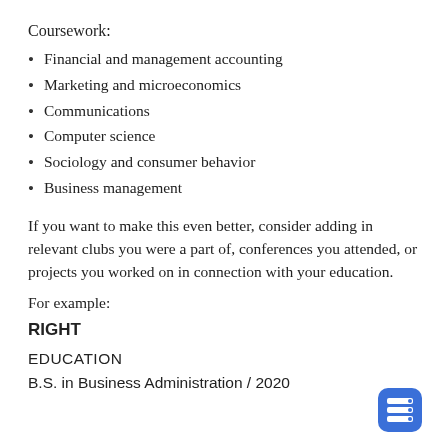Coursework:
Financial and management accounting
Marketing and microeconomics
Communications
Computer science
Sociology and consumer behavior
Business management
If you want to make this even better, consider adding in relevant clubs you were a part of, conferences you attended, or projects you worked on in connection with your education.
For example:
RIGHT
EDUCATION
B.S. in Business Administration / 2020
[Figure (logo): Blue rounded square logo with white icons resembling a server or filing cabinet]